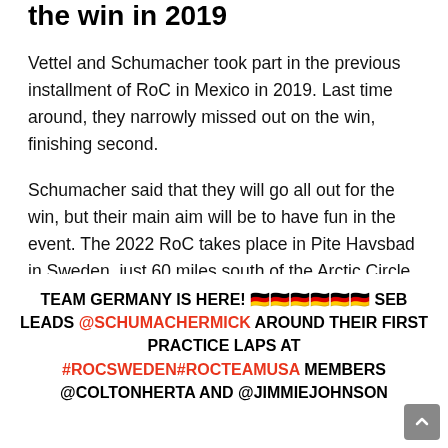the win in 2019
Vettel and Schumacher took part in the previous installment of RoC in Mexico in 2019. Last time around, they narrowly missed out on the win, finishing second.
Schumacher said that they will go all out for the win, but their main aim will be to have fun in the event. The 2022 RoC takes place in Pite Havsbad in Sweden, just 60 miles south of the Arctic Circle.
It poses a new challenge for drivers as they will try to showcase their skills on a ‘snow and ice’ racetrack.
TEAM GERMANY IS HERE! 🇩🇪🇩🇪🇩🇪🇩🇪🇩🇪🇩🇪 SEB LEADS @SCHUMACHERMICK AROUND THEIR FIRST PRACTICE LAPS AT #ROCSWEDEN#ROCTEAMUSA MEMBERS @COLTONHERTA AND @JIMMIEJOHNSON